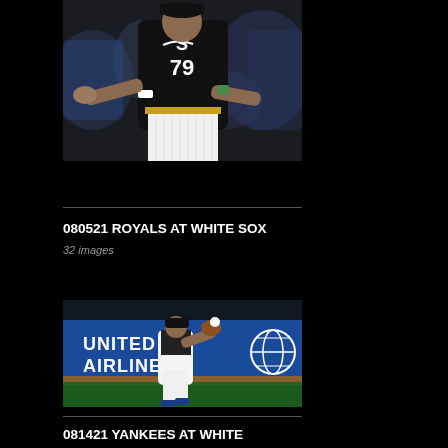[Figure (photo): Baseball player wearing Chicago White Sox #79 black jersey with white pinstripe pants, gesturing with hands outstretched against a blurred crowd background]
080521 ROYALS AT WHITE SOX
32 images
[Figure (photo): Baseball player in white uniform fielding a ball in front of a United Airlines blue outfield wall advertisement]
081421 YANKEES AT WHITE